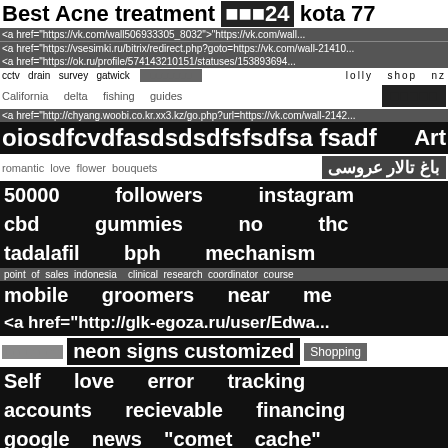Best Acne treatment 囧囧囧24 kota 77
<a href="https://vk.com/wall506933305_8032">"https://vk.com/wall...
<a href="https://vsesimki.ru/bitrix/redirect.php?goto=https://vk.com/wall-21410...
<a href="https://ok.ru/profile/574143210151/statuses/153893694...
cctv drain survey gatwick 囧囧囧囧囧囧囧囧囧囧囧囧囧 lolly shop nz
California delta fishing guides 囧囧囧囧囧
<a href="http://chyang.woobi.co.kr.xx3.kz/go.php?url=https://vk.com/wall-2142...
oiosdfcvdfasdsdsdfsfsdfsa fsadf Art
romantic love flower bouquets باغ تالار عروسی
50000 followers instagram
cbd gummies no thc
tadalafil bph mechanism
point of sales indonesia clinical research coordinator course
mobile groomers near me
<a href="http://glk-egoza.ru/user/Edwa...
囧囧囧囧囧囧囧囧 neon signs customized Shopping
Self love error tracking
accounts recievable financing
google news "comet cache"